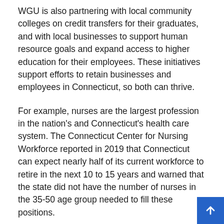WGU is also partnering with local community colleges on credit transfers for their graduates, and with local businesses to support human resource goals and expand access to higher education for their employees. These initiatives support efforts to retain businesses and employees in Connecticut, so both can thrive.
For example, nurses are the largest profession in the nation's and Connecticut's health care system. The Connecticut Center for Nursing Workforce reported in 2019 that Connecticut can expect nearly half of its current workforce to retire in the next 10 to 15 years and warned that the state did not have the number of nurses in the 35-50 age group needed to fill these positions.
Almost 15% of people who graduated with a bachelor's degree in nursing in the United States last year graduated from WGU. These motivated learners include students like Sarah Williams, a 38-year-old working mother of three, for whom WGU was only realistic option due to her other family and work...